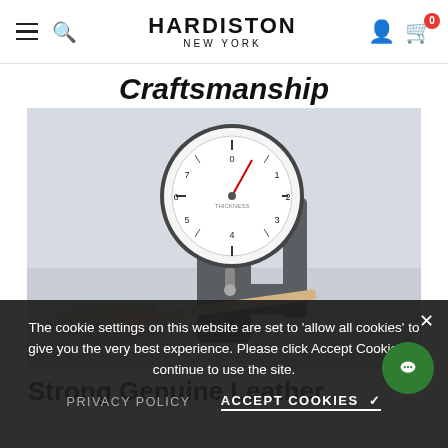HARDISTON NEW YORK
Craftsmanship
[Figure (photo): A thickness gauge / dial indicator tool measuring a thin strip of leather, with a C-clamp style metal frame and a large circular dial gauge on top showing millimeter measurements.]
Strong Genuine Leather
The cookie settings on this website are set to 'allow all cookies' to give you the very best experience. Please click Accept Cookies to continue to use the site.
PRIVACY POLICY
ACCEPT COOKIES ✓